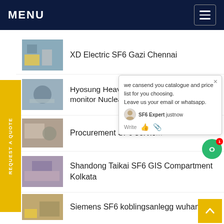MENU
XD Electric SF6 Gazi Chennai
Hyosung Heavy Industries SF6 density monitor Nuclear Power
Procurement SF6 servic
Shandong Taikai SF6 GIS Compartment Kolkata
Siemens SF6 koblingsanlegg wuhan
REQUEST A QUOTE
we cansend you catalogue and price list for you choosing.
Leave us your email or whatsapp.
SF6 Expert  justnow
Write